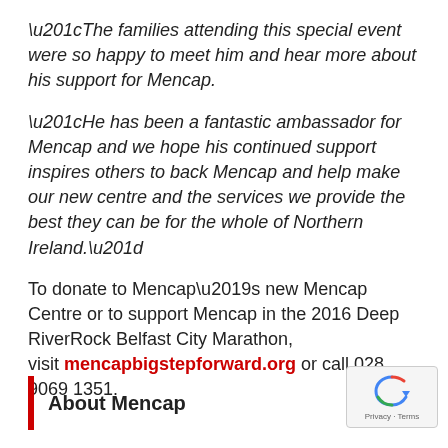“The families attending this special event were so happy to meet him and hear more about his support for Mencap.
“He has been a fantastic ambassador for Mencap and we hope his continued support inspires others to back Mencap and help make our new centre and the services we provide the best they can be for the whole of Northern Ireland.”
To donate to Mencap’s new Mencap Centre or to support Mencap in the 2016 Deep RiverRock Belfast City Marathon, visit mencapbigstepforward.org or call 028 9069 1351.
About Mencap